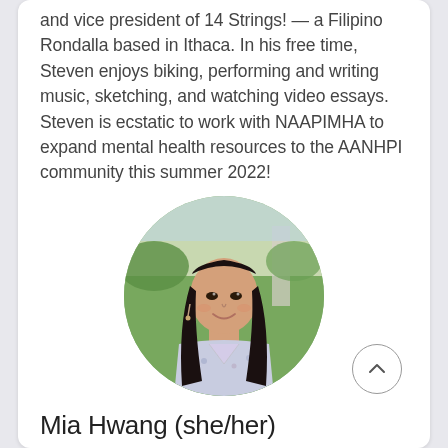and vice president of 14 Strings! — a Filipino Rondalla based in Ithaca. In his free time, Steven enjoys biking, performing and writing music, sketching, and watching video essays. Steven is ecstatic to work with NAAPIMHA to expand mental health resources to the AANHPI community this summer 2022!
[Figure (photo): Circular portrait photo of Mia Hwang, a young Asian woman with long dark hair, smiling, wearing a light floral top, outdoors with green grass and a light pillar in the background. A scroll-up button (chevron in circle) appears at the bottom right.]
Mia Hwang (she/her)